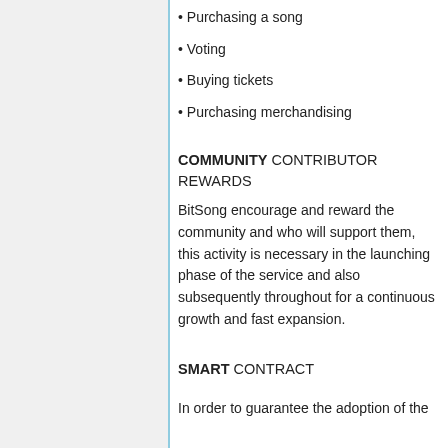• Purchasing a song
• Voting
• Buying tickets
• Purchasing merchandising
COMMUNITY CONTRIBUTOR REWARDS
BitSong encourage and reward the community and who will support them, this activity is necessary in the launching phase of the service and also subsequently throughout for a continuous growth and fast expansion.
SMART CONTRACT
In order to guarantee the adoption of the